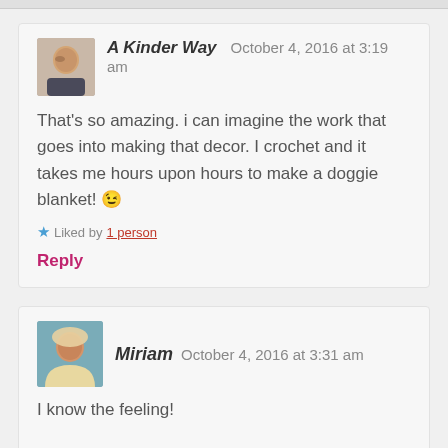A Kinder Way — October 4, 2016 at 3:19 am
That's so amazing. i can imagine the work that goes into making that decor. I crochet and it takes me hours upon hours to make a doggie blanket! 😉
Liked by 1 person
Reply
Miriam — October 4, 2016 at 3:31 am
I know the feeling!